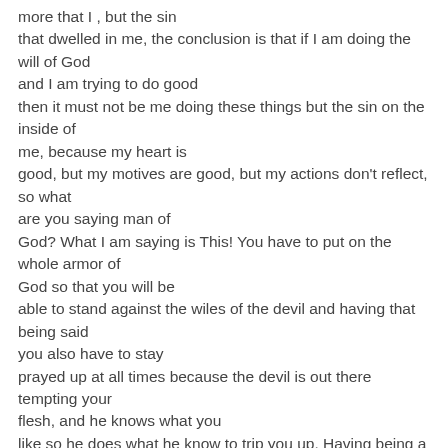more that I , but the sin that dwelled in me, the conclusion is that if I am doing the will of God and I am trying to do good then it must not be me doing these things but the sin on the inside of me, because my heart is good, but my motives are good, but my actions don't reflect, so what are you saying man of God? What I am saying is This! You have to put on the whole armor of God so that you will be able to stand against the wiles of the devil and having that being said you also have to stay prayed up at all times because the devil is out there tempting your flesh, and he knows what you like so he does what he know to trip you up. Having being a spiritual being, trapped inside this earthly vessel there is always a war going on inside you, and how to perform that which is good I find not. In my flesh dwelled no good things, It is hard to get your sinful body to perform good deeds(verse 18). In closing we find that when you do well for God there is always evil present inside of you even when you delight in the law of God and the devil tries to use sin to bring you in